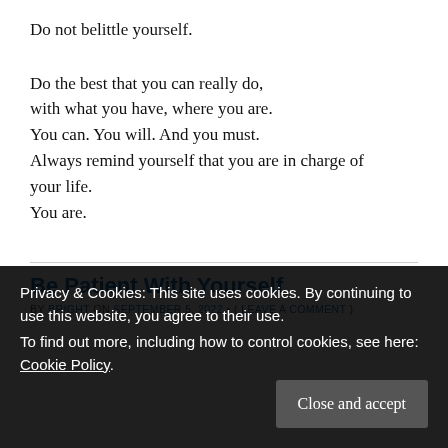Do not belittle yourself.
Do the best that you can really do, with what you have, where you are. You can. You will. And you must. Always remind yourself that you are in charge of your life. You are.
Be Patient With Yourself
BY BRIGHT ON SEPTEMBER 5, 2022 • ( LEAVE A COMMENT )
Privacy & Cookies: This site uses cookies. By continuing to use this website, you agree to their use.
To find out more, including how to control cookies, see here: Cookie Policy